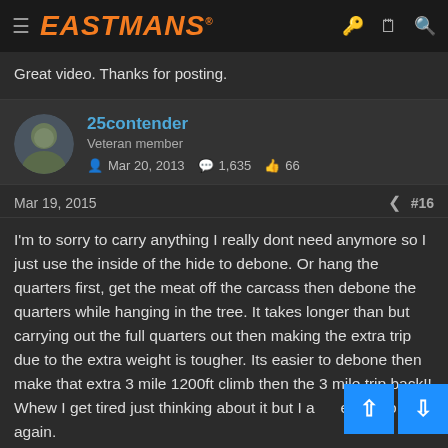EASTMANS
Great video. Thanks for posting.
25contender
Veteran member
Mar 20, 2013   1,635   66
Mar 19, 2015   #16
I'm to sorry to carry anything I really dont need anymore so I just use the inside of the hide to debone. Or hang the quarters first, get the meat off the carcass then debone the quarters while hanging in the tree. It takes longer than but carrying out the full quarters out then making the extra trip due to the extra weight is tougher. Its easier to debone then make that extra 3 mile 1200ft climb then the 3 mile trip back!! Whew I get tired just thinking about it but I a ea to do it again.